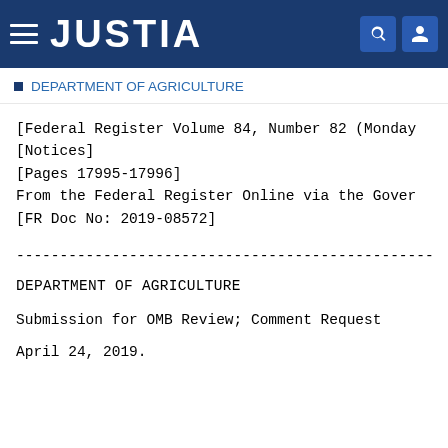JUSTIA
DEPARTMENT OF AGRICULTURE
[Federal Register Volume 84, Number 82 (Monday
[Notices]
[Pages 17995-17996]
From the Federal Register Online via the Gover
[FR Doc No: 2019-08572]
-------------------------------------------------------
DEPARTMENT OF AGRICULTURE
Submission for OMB Review; Comment Request
April 24, 2019.